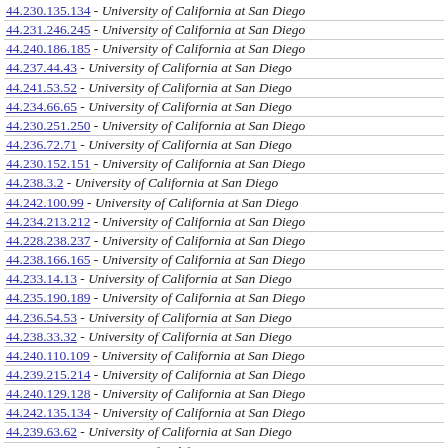44.230.135.134 - University of California at San Diego
44.231.246.245 - University of California at San Diego
44.240.186.185 - University of California at San Diego
44.237.44.43 - University of California at San Diego
44.241.53.52 - University of California at San Diego
44.234.66.65 - University of California at San Diego
44.230.251.250 - University of California at San Diego
44.236.72.71 - University of California at San Diego
44.230.152.151 - University of California at San Diego
44.238.3.2 - University of California at San Diego
44.242.100.99 - University of California at San Diego
44.234.213.212 - University of California at San Diego
44.228.238.237 - University of California at San Diego
44.238.166.165 - University of California at San Diego
44.233.14.13 - University of California at San Diego
44.235.190.189 - University of California at San Diego
44.236.54.53 - University of California at San Diego
44.238.33.32 - University of California at San Diego
44.240.110.109 - University of California at San Diego
44.239.215.214 - University of California at San Diego
44.240.129.128 - University of California at San Diego
44.242.135.134 - University of California at San Diego
44.239.63.62 - University of California at San Diego
44.242.82.81 - University of California at San Diego
44.238.161.160 - University of California at San Diego
44.234.39.38 - University of California at San Diego
44.233.193.192 - University of California at San Diego
44.242.158.157 - University of California at San Diego
44.242.149.148 - University of California at San Diego
44.242.165.164 - University of California at San Diego
44.242.171.170 - University of California at San Diego